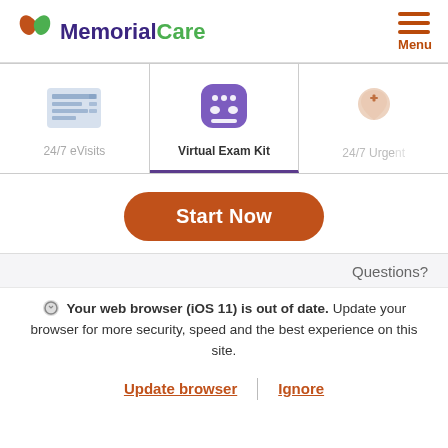[Figure (logo): MemorialCare logo with green and orange leaf icon, purple and green text]
[Figure (screenshot): Navigation menu with three horizontal orange lines and 'Menu' text]
[Figure (screenshot): Three service cards: 24/7 eVisits (form icon), Virtual Exam Kit (purple robot face icon, highlighted), 24/7 Urgent (location pin icon, partially visible)]
[Figure (screenshot): Orange rounded 'Start Now' button]
Questions?
Your web browser (iOS 11) is out of date. Update your browser for more security, speed and the best experience on this site.
Update browser | Ignore